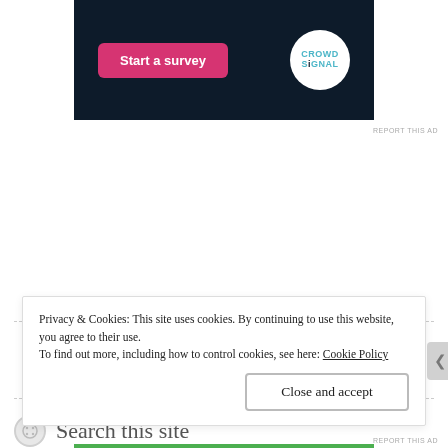[Figure (screenshot): Advertisement banner with dark navy background showing 'Start a survey' pink button and Crowd Signal logo in white circle]
REPORT THIS AD
[Figure (illustration): Decorative dashed divider line with three circular button icons in the center]
[Figure (illustration): Second dashed divider line]
Search this site
Privacy & Cookies: This site uses cookies. By continuing to use this website, you agree to their use.
To find out more, including how to control cookies, see here: Cookie Policy
Close and accept